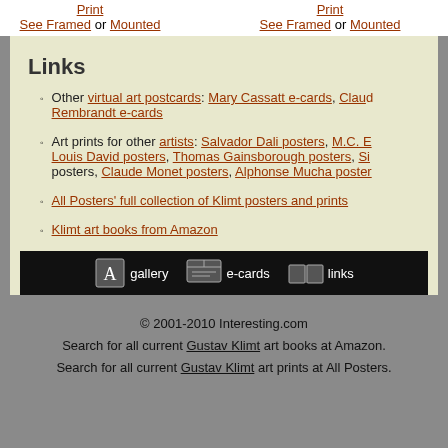Print  See Framed or Mounted   Print  See Framed or Mounted
Links
Other virtual art postcards: Mary Cassatt e-cards, Claud... Rembrandt e-cards
Art prints for other artists: Salvador Dali posters, M.C. E... Louis David posters, Thomas Gainsborough posters, Si... posters, Claude Monet posters, Alphonse Mucha poster...
All Posters' full collection of Klimt posters and prints
Klimt art books from Amazon
[Figure (screenshot): Navigation bar with gallery, e-cards, and links icons on black background]
© 2001-2010 Interesting.com
Search for all current Gustav Klimt art books at Amazon.
Search for all current Gustav Klimt art prints at All Posters.